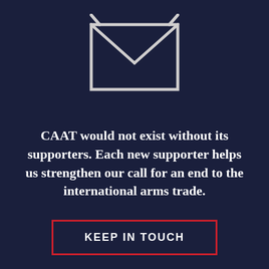[Figure (illustration): White outline envelope icon on dark navy background, showing a rectangular envelope body with diagonal flap lines forming a V shape at the top, and two short lines extending above the top corners like a hanger.]
CAAT would not exist without its supporters. Each new supporter helps us strengthen our call for an end to the international arms trade.
KEEP IN TOUCH